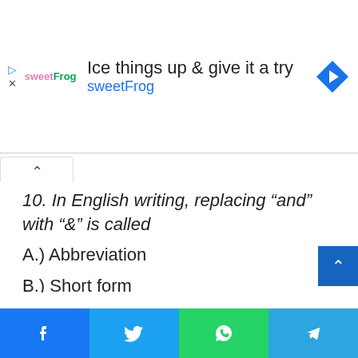[Figure (infographic): Advertisement banner for sweetFrog ice cream with logo, headline text 'Ice things up & give it a try', 'sweetFrog' subtext, navigation arrow icon, play and close buttons on left.]
10. In English writing, replacing “and” with “&” is called
A.) Abbreviation
B.) Short form
C.) Ampersand
D.) Slang
11. A test whose expected learning
[Figure (infographic): Bottom social media sharing bar with Facebook, Twitter, WhatsApp, and Telegram buttons]